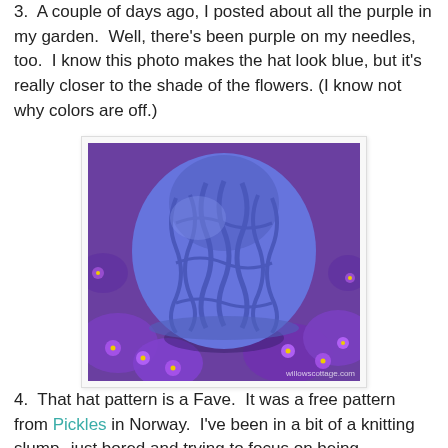3.  A couple of days ago, I posted about all the purple in my garden.  Well, there's been purple on my needles, too.  I know this photo makes the hat look blue, but it's really closer to the shade of the flowers. (I know not why colors are off.)
[Figure (photo): A blue/purple cable-knit hat resting on purple flowers (asters), with 'willowscottage.com' watermark in lower right corner.]
4.  That hat pattern is a Fave.  It was a free pattern from Pickles in Norway.  I've been in a bit of a knitting slump--just bored and trying to focus on being enthusiastic again about it.  I decided that I like this pattern enough to make it in several colors.  Purple.  Check.  Green.  On the needles.  Light Lavender.  My next project.  We'll see how many Close